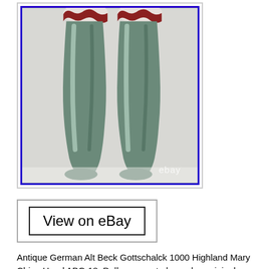[Figure (photo): Photo of two antique porcelain doll legs with green boots and red/burgundy trim at the top, shown against a white background. Blue border frame. eBay watermark visible at bottom right.]
View on eBay
Antique German Alt Beck Gottschalck 1000 Highland Mary China Head ABG 18. Doll appears to be on her original sawdust body. Her shoulders measure 3 1/2 across and